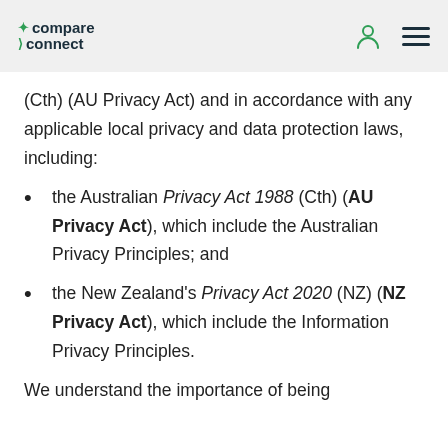compare connect
(Cth) (AU Privacy Act) and in accordance with any applicable local privacy and data protection laws, including:
the Australian Privacy Act 1988 (Cth) (AU Privacy Act), which include the Australian Privacy Principles; and
the New Zealand's Privacy Act 2020 (NZ) (NZ Privacy Act), which include the Information Privacy Principles.
We understand the importance of being